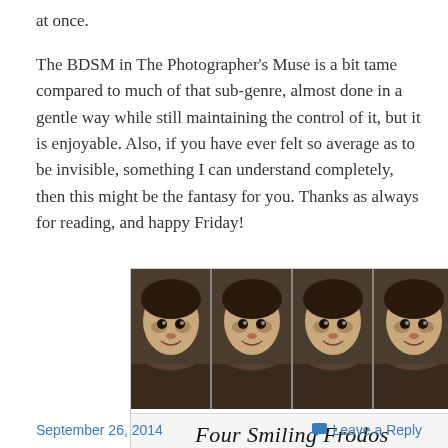at once.
The BDSM in The Photographer's Muse is a bit tame compared to much of that sub-genre, almost done in a gentle way while still maintaining the control of it, but it is enjoyable. Also, if you have ever felt so average as to be invisible, something I can understand completely, then this might be the fantasy for you. Thanks as always for reading, and happy Friday!
[Figure (illustration): Four identical side-by-side photos of a smiling Frodo Baggins character (from Lord of the Rings), with caption text below reading 'Four Smiling Frodos' in italic serif font.]
Four Smiling Frodos
September 26, 2014    Leave a Reply